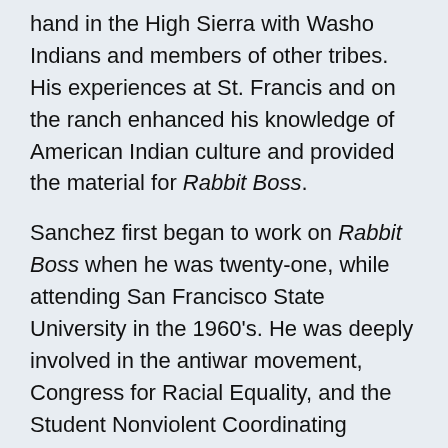hand in the High Sierra with Washo Indians and members of other tribes. His experiences at St. Francis and on the ranch enhanced his knowledge of American Indian culture and provided the material for Rabbit Boss.
Sanchez first began to work on Rabbit Boss when he was twenty-one, while attending San Francisco State University in the 1960's. He was deeply involved in the antiwar movement, Congress for Racial Equality, and the Student Nonviolent Coordinating Committee. After earning a B.A. in 1966 and an M.A. in 1967, he taught at the university and continued to work on the novel. After witnessing a violent protest where students were beaten, he left the country for Spain and there finished Rabbit